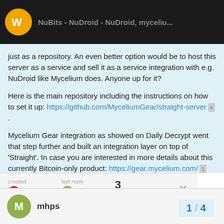just as a repository. An even better option would be to host this server as a service and sell it as a service integration with e.g. NuDroid like Mycelium does. Anyone up for it?

Here is the main repository including the instructions on how to set it up: https://github.com/MyceliumGear/straight-server 4 .

Mycelium Gear integration as showed on Daily Decrypt went that step further and built an integration layer on top of ‘Straight’. In case you are interested in more details about this currently Bitcoin-only product: https://gear.mycelium.com/ 1
created Jan '16  last reply Jan '16  3 replies
mhps
1 / 4